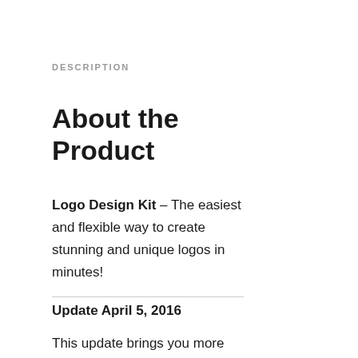DESCRIPTION
About the Product
Logo Design Kit – The easiest and flexible way to create stunning and unique logos in minutes!
Update April 5, 2016
This update brings you more than 140 original